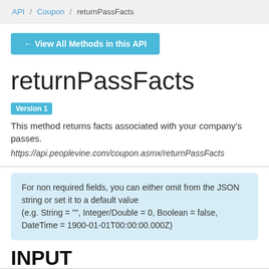API / Coupon / returnPassFacts
← View All Methods in this API
returnPassFacts
Version 1  This method returns facts associated with your company's passes.
https://api.peoplevine.com/coupon.asmx/returnPassFacts
For non required fields, you can either omit from the JSON string or set it to a default value (e.g. String = "", Integer/Double = 0, Boolean = false, DateTime = 1900-01-01T00:00:00.000Z)
INPUT